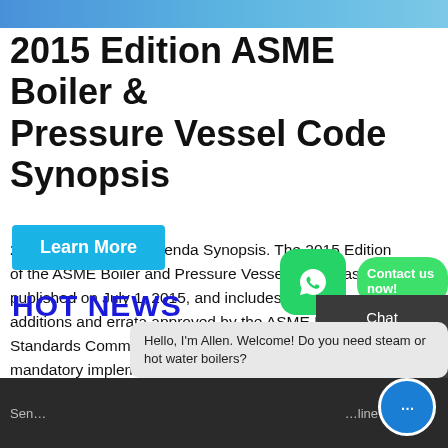[Figure (photo): Banner image at top of page, showing industrial/boiler equipment in blue tones]
2015 Edition ASME Boiler & Pressure Vessel Code Synopsis
2015 ASME Code Addenda Synopsis. The 2015 Edition of the ASME Boiler and Pressure Vessel Code was published on July 1, 2015, and includes revisions, additions and errata approved by the ASME B&PV Standards Committees in 2013 and 2014. The mandatory implementation date for the 2015 Edition is six months from the date of
Learn More
HOT NEWS
Hello, I'm Allen. Welcome! Do you need steam or hot water boilers?
Send
line
Chat
Em
Contact
Contact us now!